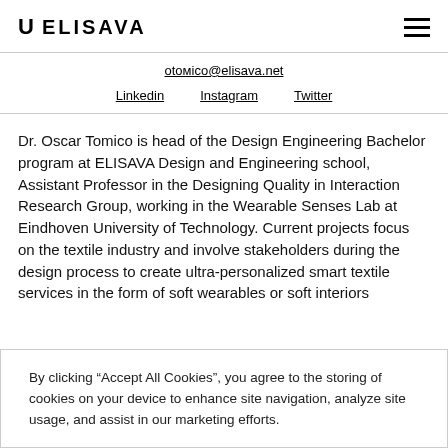U ELISAVA
otoмico@elisava.net
Linkedin  Instagram  Twitter
Dr. Oscar Tomico is head of the Design Engineering Bachelor program at ELISAVA Design and Engineering school, Assistant Professor in the Designing Quality in Interaction Research Group, working in the Wearable Senses Lab at Eindhoven University of Technology. Current projects focus on the textile industry and involve stakeholders during the design process to create ultra-personalized smart textile services in the form of soft wearables or soft interiors
By clicking “Accept All Cookies”, you agree to the storing of cookies on your device to enhance site navigation, analyze site usage, and assist in our marketing efforts.